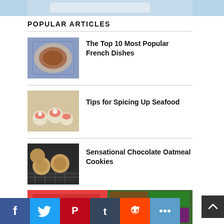[Figure (photo): Top partial image strip]
POPULAR ARTICLES
[Figure (photo): A plate with French dish (stew or ragout on decorative plate)]
The Top 10 Most Popular French Dishes
[Figure (photo): Seafood appetizers on crackers with cream cheese and smoked salmon]
Tips for Spicing Up Seafood
[Figure (photo): Chocolate oatmeal cookies on a cooling rack]
Sensational Chocolate Oatmeal Cookies
[Figure (photo): Paleo Grubs promotional image with food collage]
[Figure (infographic): Social media sharing buttons: Facebook, Twitter, Pinterest, Tumblr, Reddit, More]